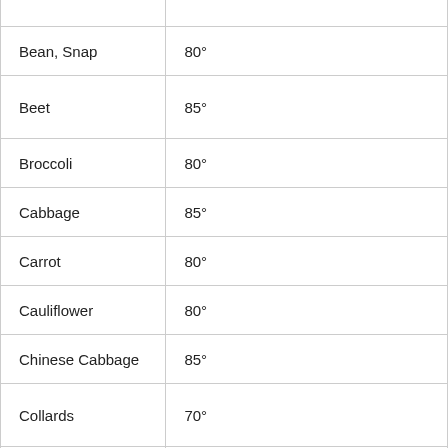| Bean, Snap | 80° |
| Beet | 85° |
| Broccoli | 80° |
| Cabbage | 85° |
| Carrot | 80° |
| Cauliflower | 80° |
| Chinese Cabbage | 85° |
| Collards | 70° |
| Kale | 70° |